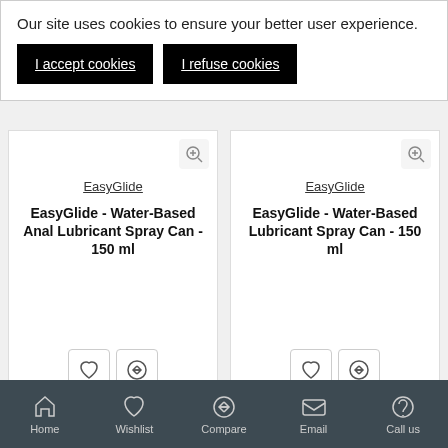Our site uses cookies to ensure your better user experience.
I accept cookies
I refuse cookies
EasyGlide
EasyGlide - Water-Based Anal Lubricant Spray Can - 150 ml
EasyGlide
EasyGlide - Water-Based Lubricant Spray Can - 150 ml
FILTER PRODUCTS
-47 %
Home
Wishlist
Compare
Email
Call us